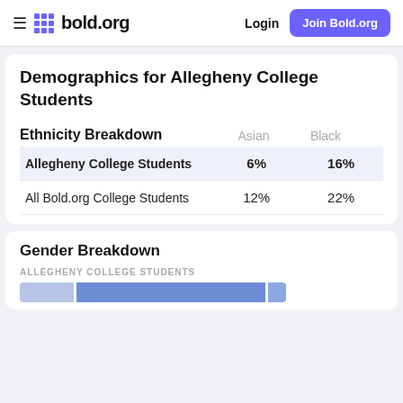bold.org  Login  Join Bold.org
Demographics for Allegheny College Students
Ethnicity Breakdown
|  | Asian | Black |
| --- | --- | --- |
| Allegheny College Students | 6% | 16% |
| All Bold.org College Students | 12% | 22% |
Gender Breakdown
ALLEGHENY COLLEGE STUDENTS
[Figure (bar-chart): Horizontal bar chart showing gender breakdown for Allegheny College Students (partial view, cut off at bottom)]